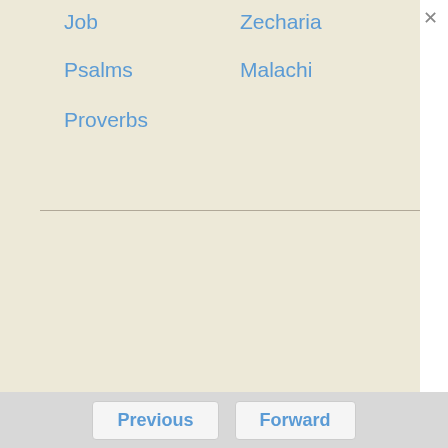Job
Zecharia
Psalms
Malachi
Proverbs
Previous
Forward